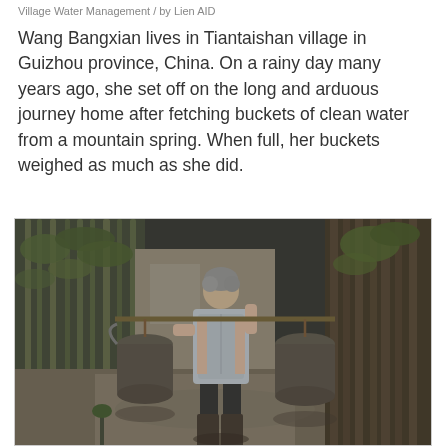Village Water Management / by Lien AID
Wang Bangxian lives in Tiantaishan village in Guizhou province, China. On a rainy day many years ago, she set off on the long and arduous journey home after fetching buckets of clean water from a mountain spring. When full, her buckets weighed as much as she did.
[Figure (photo): A woman wearing an apron carries two large metal buckets on a shoulder pole, standing in a rural courtyard area surrounded by bamboo stalks and foliage. The image is in muted, desaturated tones.]